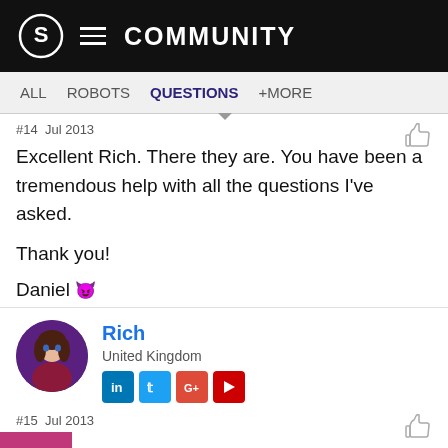S COMMUNITY
ALL  ROBOTS  QUESTIONS  +MORE
#14  Jul 2013
Excellent Rich. There they are. You have been a tremendous help with all the questions I've asked.

Thank you!

Daniel
Rich
United Kingdom
#15  Jul 2013
w I am home so I can see it better.